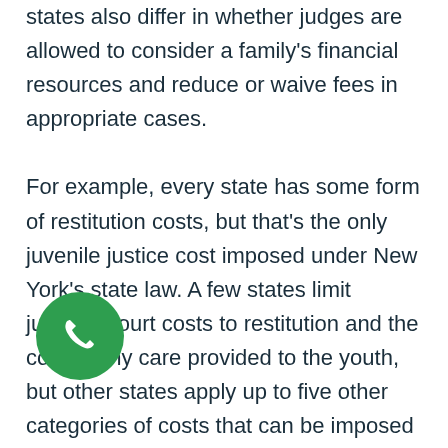states also differ in whether judges are allowed to consider a family's financial resources and reduce or waive fees in appropriate cases.

For example, every state has some form of restitution costs, but that's the only juvenile justice cost imposed under New York's state law. A few states limit juvenile court costs to restitution and the cost of any care provided to the youth, but other states apply up to five other categories of costs that can be imposed on youths, parents, or both. These may include fines, costs for probation or other supervision, costs to participate in diversion programs or other alternatives to incarceration,